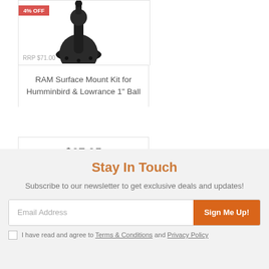[Figure (photo): RAM surface mount kit product photo showing a black ball mount arm with round base plate]
4% OFF
RRP $71.00
RAM Surface Mount Kit for Humminbird & Lowrance 1" Ball
$67.95
Add to Cart
Stay In Touch
Subscribe to our newsletter to get exclusive deals and updates!
Email Address
Sign Me Up!
I have read and agree to Terms & Conditions and Privacy Policy